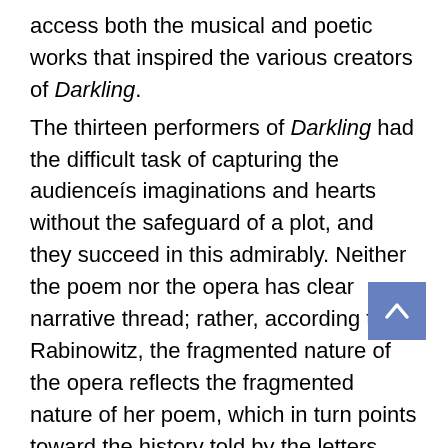access both the musical and poetic works that inspired the various creators of Darkling.
The thirteen performers of Darkling had the difficult task of capturing the audienceís imaginations and hearts without the safeguard of a plot, and they succeed in this admirably. Neither the poem nor the opera has clear narrative thread; rather, according to Rabinowitz, the fragmented nature of the opera reflects the fragmented nature of her poem, which in turn points toward the history told by the letters, postcards, photos, and other documents from her familyís experiences in the Holocaust. The opera, like the letters, allows us to glimpse a small piece of historyóthe histories of particular individuals and of a war.
In 80 minutes of intense visual and aural stimulation, Darkling achieves moments of powerful emotion. At times I felt moved to tears, though I cannot quite explain all the details that contributed to that because so much